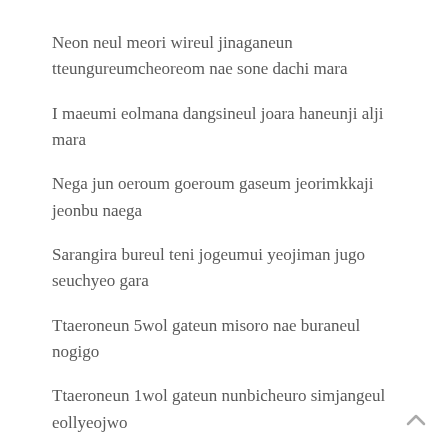Neon neul meori wireul jinaganeun tteungureumcheoreom nae sone dachi mara
I maeumi eolmana dangsineul joara haneunji alji mara
Nega jun oeroum goeroum gaseum jeorimkkaji jeonbu naega
Sarangira bureul teni jogeumui yeojiman jugo seuchyeo gara
Ttaeroneun 5wol gateun misoro nae buraneul nogigo
Ttaeroneun 1wol gateun nunbicheuro simjangeul eollyeojwo